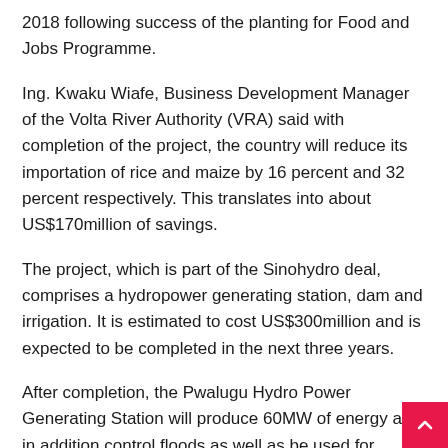2018 following success of the planting for Food and Jobs Programme.
Ing. Kwaku Wiafe, Business Development Manager of the Volta River Authority (VRA) said with completion of the project, the country will reduce its importation of rice and maize by 16 percent and 32 percent respectively. This translates into about US$170million of savings.
The project, which is part of the Sinohydro deal, comprises a hydropower generating station, dam and irrigation. It is estimated to cost US$300million and is expected to be completed in the next three years.
After completion, the Pwalugu Hydro Power Generating Station will produce 60MW of energy and in addition control floods as well as be used for irrigation to ensure an all-round farming in the northern part of the country.